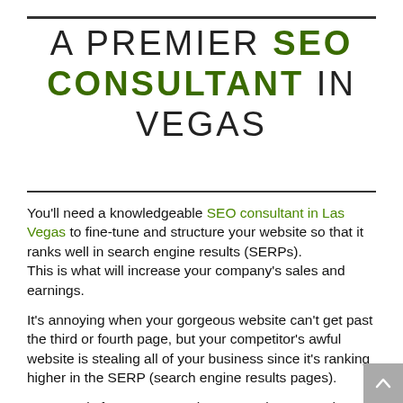A PREMIER SEO CONSULTANT IN VEGAS
You'll need a knowledgeable SEO consultant in Las Vegas to fine-tune and structure your website so that it ranks well in search engine results (SERPs).
This is what will increase your company's sales and earnings.
It's annoying when your gorgeous website can't get past the third or fourth page, but your competitor's awful website is stealing all of your business since it's ranking higher in the SERP (search engine results pages).
Fortunately for you, we are here to assist you as the top SEO consultant in Las Vegas.
We'll get your brand and website to rank higher than your competition so you can be the market leader in your field.